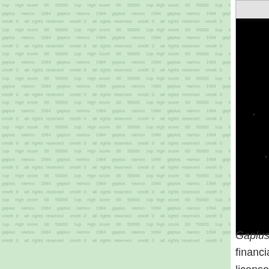[Figure (screenshot): Wikipedia-style infobox partially visible on right side. Header reads 'Gaplus' in bold italic. Below is a screenshot of the Gaplus arcade game title screen showing the Gaplus logo in purple/blue on black background, '1UP HIGH SCORE 00 50000' in red/yellow text at top, a starfield background, player ship and enemy ships, '© 1984 NAMCO ALL RIGHTS RESERVED' and 'namco' logo in red, 'CREDIT 0' at bottom.]
Gaplus didn't do as well as Namco had hoped financially. In an attempt to boost interest, Namco licensed out modification kits to change the game to